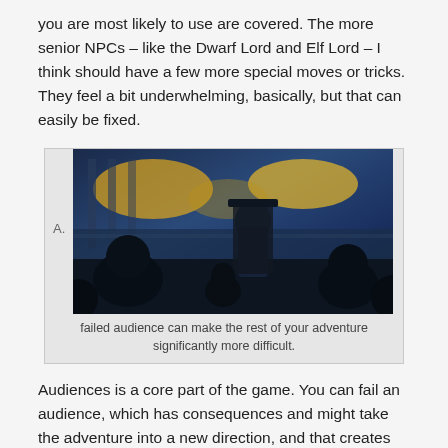you are most likely to use are covered. The more senior NPCs – like the Dwarf Lord and Elf Lord – I think should have a few more special moves or tricks. They feel a bit underwhelming, basically, but that can easily be fixed.
[Figure (illustration): Fantasy illustration showing silhouettes of figures seated before a robed figure on a throne or elevated seat, with a dramatic yellow and blue sky background. Label 'A.' visible on the left side.]
failed audience can make the rest of your adventure significantly more difficult.
Audiences is a core part of the game. You can fail an audience, which has consequences and might take the adventure into a new direction, and that creates